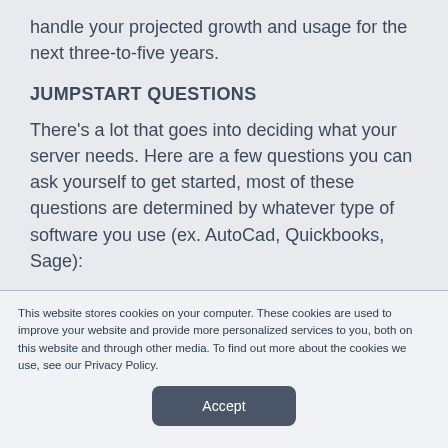handle your projected growth and usage for the next three-to-five years.
JUMPSTART QUESTIONS
There’s a lot that goes into deciding what your server needs. Here are a few questions you can ask yourself to get started, most of these questions are determined by whatever type of software you use (ex. AutoCad, Quickbooks, Sage):
This website stores cookies on your computer. These cookies are used to improve your website and provide more personalized services to you, both on this website and through other media. To find out more about the cookies we use, see our Privacy Policy.